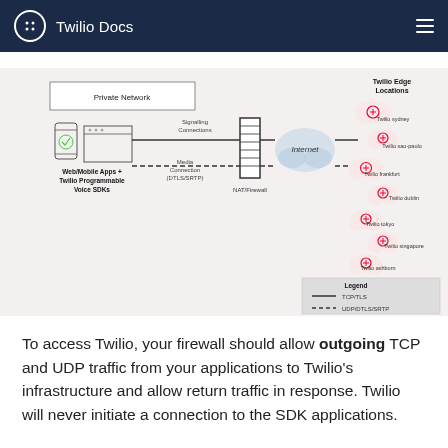Twilio Docs
[Figure (network-graph): Network diagram showing Web/Mobile Apps + Twilio Programmable Voice SDKs connected through NAT/Firewall to the Internet via Signalling Connections (TCP/TLS solid line) and Media Connection DTLS/SRTP (dashed line), then connecting to Twilio Edge Locations including Twilio sydney, Twilio sao-paulo, Twilio frankfurt, Twilio dublin, Twilio tokyo, Twilio singapore, and Twilio ashburn. Legend shows TCP/TLS as solid line and UDP/DTLS/SRTP as dashed line. Left side shows Private Network box.]
To access Twilio, your firewall should allow outgoing TCP and UDP traffic from your applications to Twilio's infrastructure and allow return traffic in response. Twilio will never initiate a connection to the SDK applications.